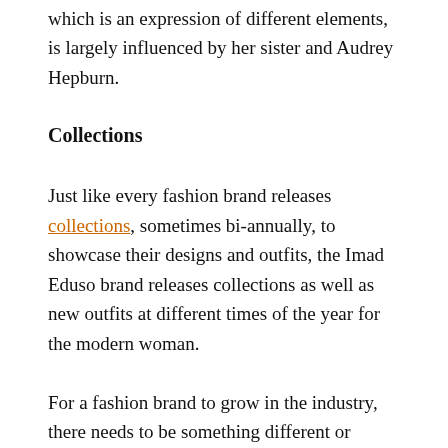which is an expression of different elements, is largely influenced by her sister and Audrey Hepburn.
Collections
Just like every fashion brand releases collections, sometimes bi-annually, to showcase their designs and outfits, the Imad Eduso brand releases collections as well as new outfits at different times of the year for the modern woman.
For a fashion brand to grow in the industry, there needs to be something different or unique about such a brand. Over the years, the Imad Eduso brand has created a brand identity that stands them out from other brands.